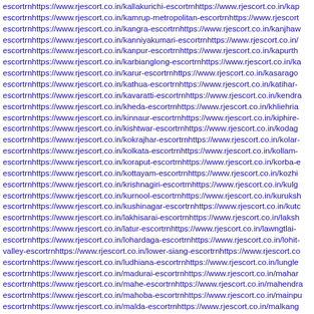escortrnhttps://www.rjescort.co.in/kallakurichi-escortrnhttps://www.rjescort.co.in/kap escortrnhttps://www.rjescort.co.in/kamrup-metropolitan-escortrnhttps://www.rjescort escortrnhttps://www.rjescort.co.in/kangra-escortrnhttps://www.rjescort.co.in/kanjhaw escortrnhttps://www.rjescort.co.in/kanniyakumari-escortrnhttps://www.rjescort.co.in/ escortrnhttps://www.rjescort.co.in/kanpur-escortrnhttps://www.rjescort.co.in/kapurth escortrnhttps://www.rjescort.co.in/karbianglong-escortrnhttps://www.rjescort.co.in/ka escortrnhttps://www.rjescort.co.in/karur-escortrnhttps://www.rjescort.co.in/kasarago escortrnhttps://www.rjescort.co.in/kathua-escortrnhttps://www.rjescort.co.in/katihar- escortrnhttps://www.rjescort.co.in/kavaratti-escortrnhttps://www.rjescort.co.in/kendra escortrnhttps://www.rjescort.co.in/kheda-escortrnhttps://www.rjescort.co.in/khliehria escortrnhttps://www.rjescort.co.in/kinnaur-escortrnhttps://www.rjescort.co.in/kiphire- escortrnhttps://www.rjescort.co.in/kishtwar-escortrnhttps://www.rjescort.co.in/kodag escortrnhttps://www.rjescort.co.in/kokrajhar-escortrnhttps://www.rjescort.co.in/kolar- escortrnhttps://www.rjescort.co.in/kolkata-escortrnhttps://www.rjescort.co.in/kollam- escortrnhttps://www.rjescort.co.in/koraput-escortrnhttps://www.rjescort.co.in/korba-e escortrnhttps://www.rjescort.co.in/kottayam-escortrnhttps://www.rjescort.co.in/kozhi escortrnhttps://www.rjescort.co.in/krishnagiri-escortrnhttps://www.rjescort.co.in/kulg escortrnhttps://www.rjescort.co.in/kurnool-escortrnhttps://www.rjescort.co.in/kuruksh escortrnhttps://www.rjescort.co.in/kushinagar-escortrnhttps://www.rjescort.co.in/kutc escortrnhttps://www.rjescort.co.in/lakhisarai-escortrnhttps://www.rjescort.co.in/laksh escortrnhttps://www.rjescort.co.in/latur-escortrnhttps://www.rjescort.co.in/lawngtlai- escortrnhttps://www.rjescort.co.in/lohardaga-escortrnhttps://www.rjescort.co.in/lohit- valley-escortrnhttps://www.rjescort.co.in/lower-siang-escortrnhttps://www.rjescort.co escortrnhttps://www.rjescort.co.in/ludhiana-escortrnhttps://www.rjescort.co.in/lungle escortrnhttps://www.rjescort.co.in/madurai-escortrnhttps://www.rjescort.co.in/mahar escortrnhttps://www.rjescort.co.in/mahe-escortrnhttps://www.rjescort.co.in/mahendra escortrnhttps://www.rjescort.co.in/mahoba-escortrnhttps://www.rjescort.co.in/mainpu escortrnhttps://www.rjescort.co.in/malda-escortrnhttps://www.rjescort.co.in/malkang escortrnhttps://www.rjescort.co.in/mandla-escortrnhttps://www.rjescort.co.in/mandsa escortrnhttps://www.rjescort.co.in/mansa-escortrnhttps://www.rjescort.co.in/margao escortrnhttps://www.rjescort.co.in/mawkyrwat-escortrnhttps://www.rjescort.co.in/ma escortrnhttps://www.rjescort.co.in/mehsana-escortrnhttps://www.rjescort.co.in/minic